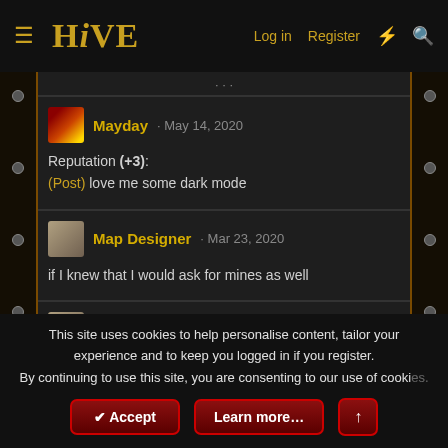HIVE — Log in | Register
Mayday · May 14, 2020
Reputation (+3):
(Post) love me some dark mode
Map Designer · Mar 23, 2020
if I knew that I would ask for mines as well
Map Designer · Mar 23, 2020
Reputation (+1):
(Post) By request of auther 😀
This site uses cookies to help personalise content, tailor your experience and to keep you logged in if you register.
By continuing to use this site, you are consenting to our use of cookies.